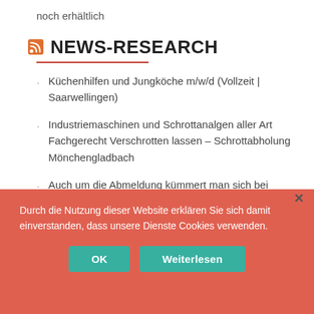noch erhältlich
NEWS-RESEARCH
Küchenhilfen und Jungköche m/w/d (Vollzeit | Saarwellingen)
Industriemaschinen und Schrottanalgen aller Art Fachgerecht Verschrotten lassen – Schrottabholung Mönchengladbach
Auch um die Abmeldung kümmert man sich bei Autoverschrottung Aachen
Durch die Nutzung dieser Website erklären Sie sich damit einverstanden, dass unsere Dienste Cookies verwenden.